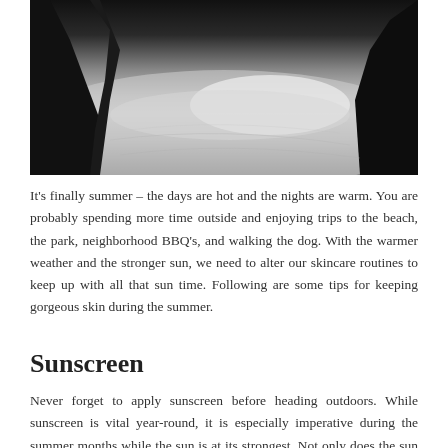[Figure (photo): Outdoor beach/sand scene with dark silhouettes in the foreground and bright sunlit sandy surface in the background]
It's finally summer – the days are hot and the nights are warm. You are probably spending more time outside and enjoying trips to the beach, the park, neighborhood BBQ's, and walking the dog. With the warmer weather and the stronger sun, we need to alter our skincare routines to keep up with all that sun time. Following are some tips for keeping gorgeous skin during the summer.
Sunscreen
Never forget to apply sunscreen before heading outdoors. While sunscreen is vital year-round, it is especially imperative during the summer months while the sun is at its strongest. Not only does the sun cause sunburns, cancer, and contributes to early aging of the skin, but it